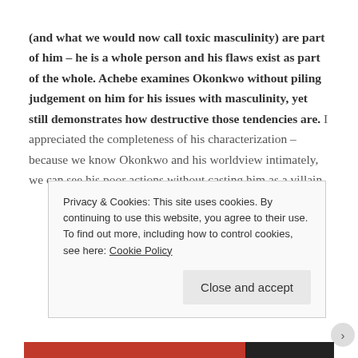(and what we would now call toxic masculinity) are part of him – he is a whole person and his flaws exist as part of the whole. Achebe examines Okonkwo without piling judgement on him for his issues with masculinity, yet still demonstrates how destructive those tendencies are. I appreciated the completeness of his characterization – because we know Okonkwo and his worldview intimately, we can see his poor actions without casting him as a villain.
Privacy & Cookies: This site uses cookies. By continuing to use this website, you agree to their use.
To find out more, including how to control cookies, see here: Cookie Policy
Close and accept